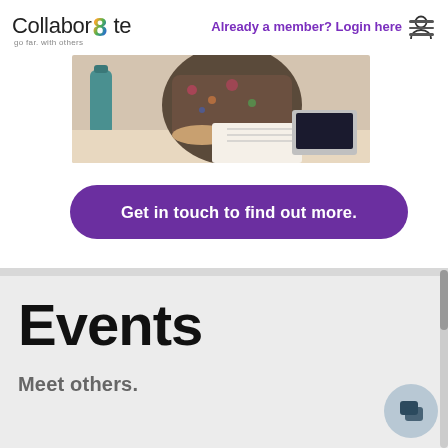Already a member? Login here
[Figure (logo): Collabor8te logo with colorful 8 and tagline 'go far. with others']
[Figure (photo): Person sitting at desk working on laptop/notebook with a teal water bottle nearby]
Get in touch to find out more.
Events
Meet others.